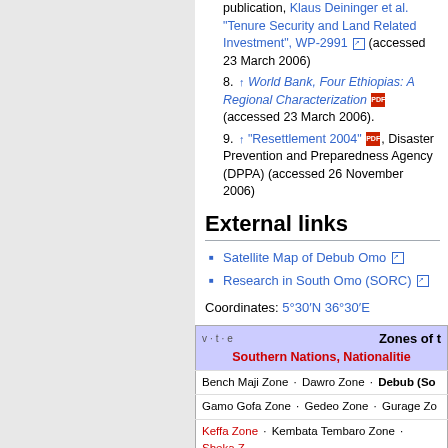publication, Klaus Deininger et al. "Tenure Security and Land Related Investment", WP-2991 (accessed 23 March 2006)
8. ↑ World Bank, Four Ethiopias: A Regional Characterization (accessed 23 March 2006).
9. ↑ "Resettlement 2004", Disaster Prevention and Preparedness Agency (DPPA) (accessed 26 November 2006)
External links
Satellite Map of Debub Omo
Research in South Omo (SORC)
Coordinates: 5°30′N 36°30′E
| v·t·e | Zones of t... Southern Nations, Nationalities... |
| --- | --- |
| Bench Maji Zone · Dawro Zone · Debub (So... |
| Gamo Gofa Zone · Gedeo Zone · Gurage Zo... |
| Keffa Zone · Kembata Tembaro Zone · Sheka Z... |